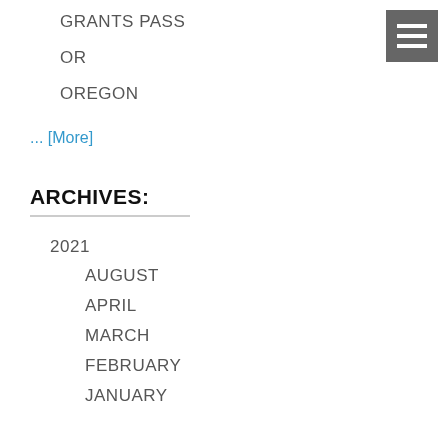GRANTS PASS
OR
OREGON
... [More]
ARCHIVES:
2021
AUGUST
APRIL
MARCH
FEBRUARY
JANUARY